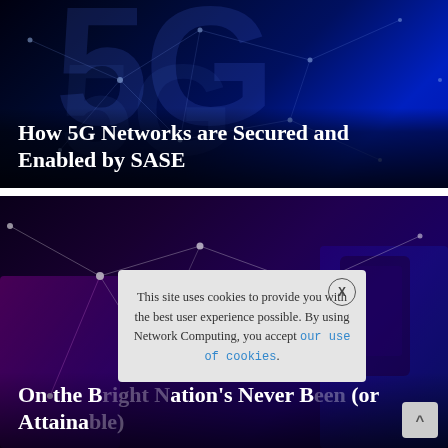[Figure (photo): Dark blue digital network background with large '5G' text rendered in semi-transparent blue, overlaid with glowing white node-and-line network graphics]
How 5G Networks are Secured and Enabled by SASE
[Figure (photo): Dark purple/blue digital network background with glowing nodes and connections, with a mobile phone visible and colorful abstract shapes]
On the B[right] [N]ation's Never B[een] (or Attaina[ble])
This site uses cookies to provide you with the best user experience possible. By using Network Computing, you accept our use of cookies.